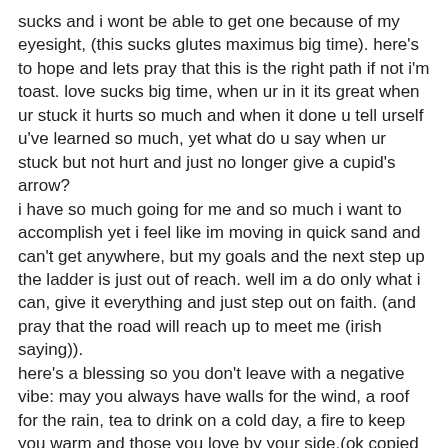sucks and i wont be able to get one because of my eyesight, (this sucks glutes maximus big time). here's to hope and lets pray that this is the right path if not i'm toast. love sucks big time, when ur in it its great when ur stuck it hurts so much and when it done u tell urself u've learned so much, yet what do u say when ur stuck but not hurt and just no longer give a cupid's arrow?
i have so much going for me and so much i want to accomplish yet i feel like im moving in quick sand and can't get anywhere, but my goals and the next step up the ladder is just out of reach. well im a do only what i can, give it everything and just step out on faith. (and pray that the road will reach up to meet me (irish saying)).
here's a blessing so you don't leave with a negative vibe: may you always have walls for the wind, a roof for the rain, tea to drink on a cold day, a fire to keep you warm and those you love by your side.(ok copied from a beautiful irish saying.)
blessed be
Love and Light